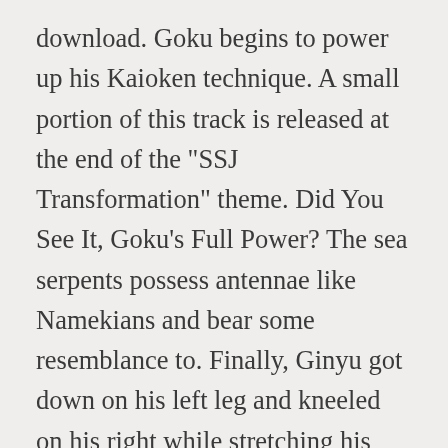download. Goku begins to power up his Kaioken technique. A small portion of this track is released at the end of the "SSJ Transformation" theme. Did You See It, Goku's Full Power? The sea serpents possess antennae like Namekians and bear some resemblance to. Finally, Ginyu got down on his left leg and kneeled on his right while stretching his arms from the sides towards the ground. Round 3 Same as round 1 but avengers have 1 week to prepare. Ginyu vs. Goku! File:Metal Sonic Theme-Sonic Generations- Stardust Speedway Remix File:Most played song songs Soundtrack wise. "Well, he's finally learning the Ginyu Force way, boys~!" This track is an unreleased portion of the "Goku Battle 19" theme... Gi...